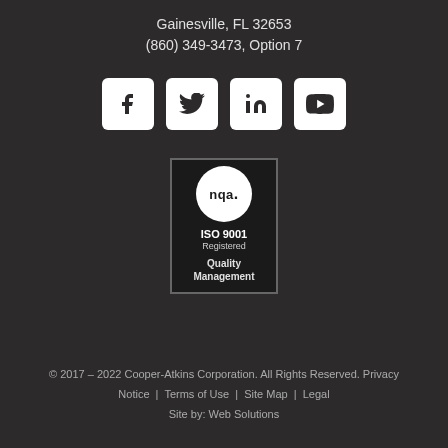Gainesville, FL 32653
(860) 349-3473, Option 7
[Figure (other): Social media icons: Facebook, Twitter, LinkedIn, YouTube — white rounded square buttons on dark background]
[Figure (other): NQA ISO 9001 Registered Quality Management badge/logo — circular NQA logo above ISO 9001 Registered text and Quality Management text]
© 2017 – 2022 Cooper-Atkins Corporation. All Rights Reserved. Privacy Notice  |  Terms of Use  |  Site Map  |  Legal
Site by: Web Solutions